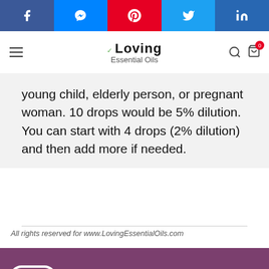[Figure (infographic): Social share bar with Facebook, Messenger, Pinterest, Twitter, LinkedIn buttons]
[Figure (logo): Loving Essential Oils logo with hamburger menu, search and cart icons]
young child, elderly person, or pregnant woman. 10 drops would be 5% dilution. You can start with 4 drops (2% dilution) and then add more if needed.
All rights reserved for www.LovingEssentialOils.com
Did you make this recipe? Tag @loving_essential_oils on instagram and hashtag it #diyrecipes